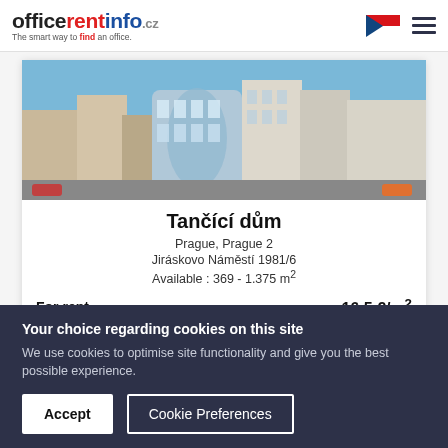officerentinfo.cz — The smart way to find an office.
[Figure (photo): Photo of Tančící dům (Dancing House) building in Prague, showing the curved glass facade and surrounding street-level view.]
Tančící dům
Prague, Prague 2
Jiráskovo Náměstí 1981/6
Available : 369 - 1.375 m²
For rent	16.5 €/m²
Your choice regarding cookies on this site
We use cookies to optimise site functionality and give you the best possible experience.
Accept | Cookie Preferences